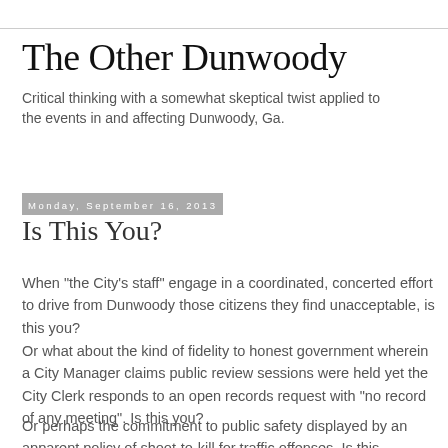The Other Dunwoody
Critical thinking with a somewhat skeptical twist applied to the events in and affecting Dunwoody, Ga.
Monday, September 16, 2013
Is This You?
When "the City's staff" engage in a coordinated, concerted effort to drive from Dunwoody those citizens they find unacceptable, is this you?
Or what about the kind of fidelity to honest government wherein a City Manager claims public review sessions were held yet the City Clerk responds to an open records request with "no record of any meeting". Is this you?
Or perhaps the commitment to public safety displayed by an apparent policy of shoot-to-kill for traffic offenses. Is this